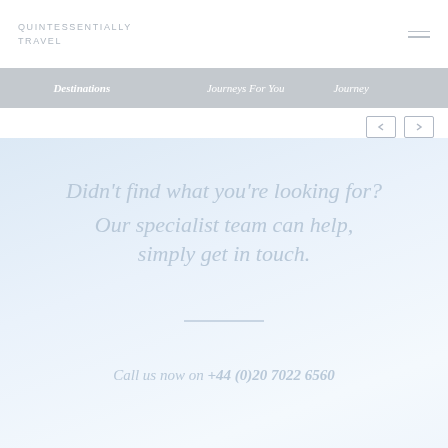QUINTESSENTIALLY
TRAVEL
Destinations  Journeys For You  Journey
Didn't find what you're looking for?
Our specialist team can help, simply get in touch.
Call us now on +44 (0)20 7022 6560